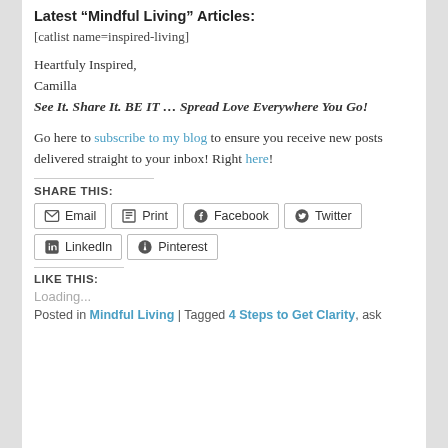Latest “Mindful Living” Articles:
[catlist name=inspired-living]
Heartfuly Inspired,
Camilla
See It. Share It. BE IT … Spread Love Everywhere You Go!
Go here to subscribe to my blog to ensure you receive new posts delivered straight to your inbox! Right here!
SHARE THIS:
Email  Print  Facebook  Twitter  LinkedIn  Pinterest
LIKE THIS:
Loading...
Posted in Mindful Living | Tagged 4 Steps to Get Clarity, ask